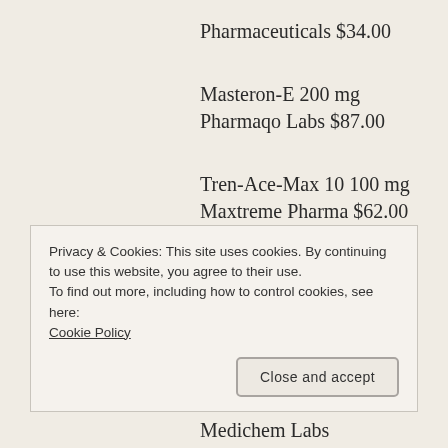Pharmaceuticals $34.00
Masteron-E 200 mg Pharmaqo Labs $87.00
Tren-Ace-Max 10 100 mg Maxtreme Pharma $62.00
NandroBolin 250 mg Alpha-Pharma $63.00
DECAN P 150 mg Para
Privacy & Cookies: This site uses cookies. By continuing to use this website, you agree to their use.
To find out more, including how to control cookies, see here: Cookie Policy
Medichem Labs